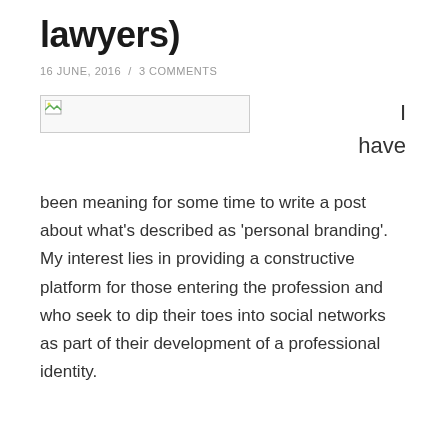lawyers)
16 JUNE, 2016 / 3 COMMENTS
[Figure (other): Broken/missing image placeholder with small image icon]
I have been meaning for some time to write a post about what’s described as ‘personal branding’. My interest lies in providing a constructive platform for those entering the profession and who seek to dip their toes into social networks as part of their development of a professional identity.